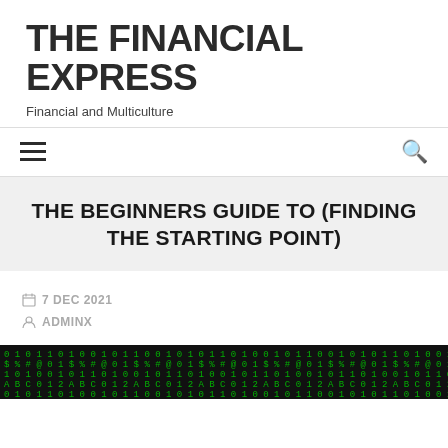THE FINANCIAL EXPRESS
Financial and Multiculture
THE BEGINNERS GUIDE TO (FINDING THE STARTING POINT)
7 DEC 2021
ADMINX
[Figure (photo): Dark matrix-style digital rain image with green characters on black background]